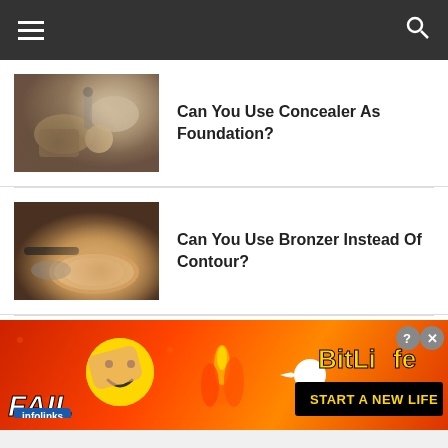Navigation header with hamburger menu and search icon
[Figure (photo): Makeup products including foundation, concealer, brushes and palette on a table]
Can You Use Concealer As Foundation?
[Figure (photo): Bronzer compact with makeup brush on a textured surface]
Can You Use Bronzer Instead Of Contour?
[Figure (photo): Young woman smiling outdoors with green foliage background]
Can You Use Bronzer As Fake Tan?
[Figure (screenshot): BitLife advertisement banner with FAIL text, emoji, flame and 'START A NEW LIFE' tagline]